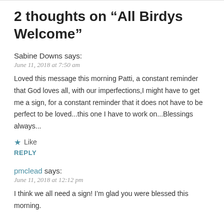2 thoughts on “All Birdys Welcome”
Sabine Downs says:
June 11, 2018 at 7:50 am
Loved this message this morning Patti, a constant reminder that God loves all, with our imperfections,I might have to get me a sign, for a constant reminder that it does not have to be perfect to be loved...this one I have to work on...Blessings always...
Like
REPLY
pmclead says:
June 11, 2018 at 12:12 pm
I think we all need a sign! I’m glad you were blessed this morning.